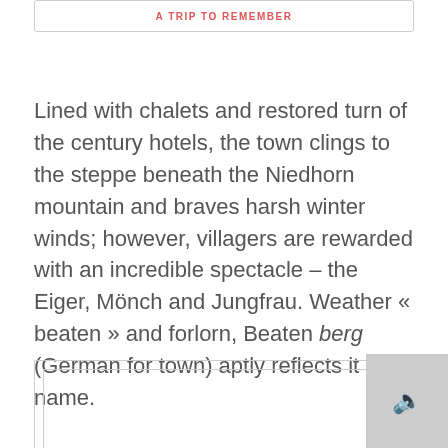A TRIP TO REMEMBER
Lined with chalets and restored turn of the century hotels, the town clings to the steppe beneath the Niedhorn mountain and braves harsh winter winds; however, villagers are rewarded with an incredible spectacle – the Eiger, Mönch and Jungfrau. Weather « beaten » and forlorn, Beaten berg (German for town) aptly reflects it name.
[Figure (other): Bottom box UI element with icon placeholder]